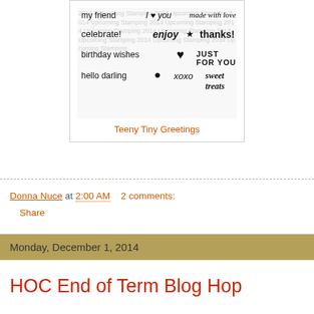[Figure (illustration): Stamp set product image showing various greeting phrases: 'my friend', 'I love you', 'made with love', 'celebrate!', 'enjoy', star symbol, 'thanks!', 'birthday wishes', heart symbol, bullet, 'JUST FOR YOU', 'hello darling', 'xoxo', 'sweet treats'. Background has faint repeated text watermark.]
Teeny Tiny Greetings
Donna Nuce at 2:00 AM    2 comments:
Share
Monday, December 1, 2014
HOC End of Term Blog Hop